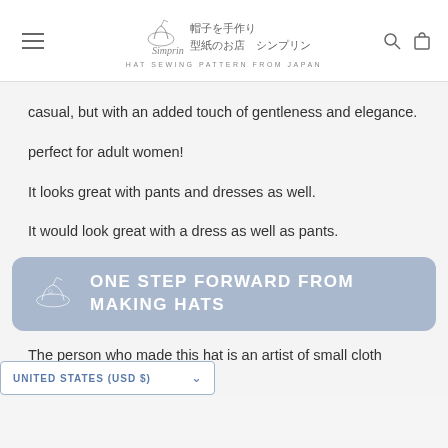帽子を手作り 型紙のお店 シンプリン — HAT SEWING PATTERN FROM JAPAN
casual, but with an added touch of gentleness and elegance.
perfect for adult women!
It looks great with pants and dresses as well.
It would look great with a dress as well as pants.
[Figure (infographic): Blue-grey rounded banner with small hat illustration icon on left and bold white uppercase text reading: ONE STEP FORWARD FROM MAKING HATS]
The person who made this hat is an artist of small cloth goods
UNITED STATES (USD $)